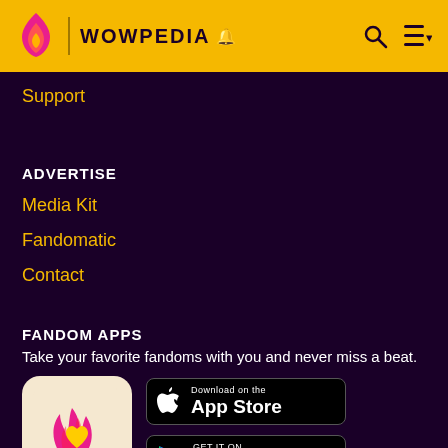WOWPEDIA
Support
ADVERTISE
Media Kit
Fandomatic
Contact
FANDOM APPS
Take your favorite fandoms with you and never miss a beat.
[Figure (logo): Fandom app icon with pink flame and yellow heart on light background]
[Figure (other): Download on the App Store badge]
[Figure (other): Get it on Google Play badge]